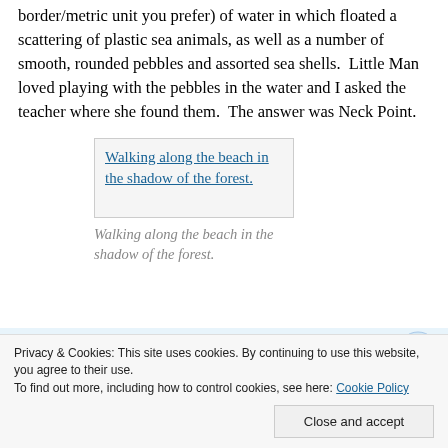border/metric unit you prefer) of water in which floated a scattering of plastic sea animals, as well as a number of smooth, rounded pebbles and assorted sea shells.  Little Man loved playing with the pebbles in the water and I asked the teacher where she found them.  The answer was Neck Point.
[Figure (photo): Broken image placeholder link: Walking along the beach in the shadow of the forest.]
Walking along the beach in the shadow of the forest.
GET THE APP
Privacy & Cookies: This site uses cookies. By continuing to use this website, you agree to their use.
To find out more, including how to control cookies, see here: Cookie Policy